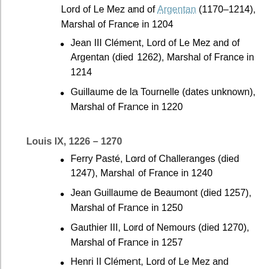Lord of Le Mez and of Argentan (1170–1214), Marshal of France in 1204
Jean III Clément, Lord of Le Mez and of Argentan (died 1262), Marshal of France in 1214
Guillaume de la Tournelle (dates unknown), Marshal of France in 1220
Louis IX, 1226 – 1270
Ferry Pasté, Lord of Challeranges (died 1247), Marshal of France in 1240
Jean Guillaume de Beaumont (died 1257), Marshal of France in 1250
Gauthier III, Lord of Nemours (died 1270), Marshal of France in 1257
Henri II Clément, Lord of Le Mez and